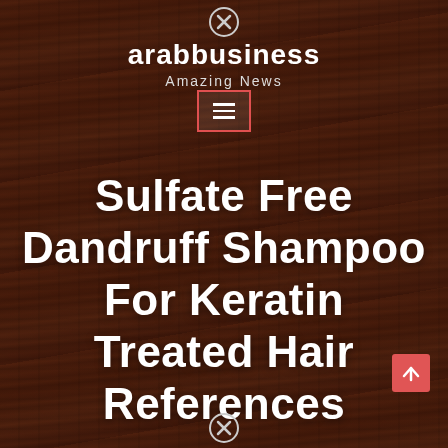arabbusiness
Amazing News
[Figure (screenshot): Hamburger menu button with red border on wood background]
Sulfate Free Dandruff Shampoo For Keratin Treated Hair References
[Figure (infographic): Red scroll-to-top arrow button]
[Figure (infographic): Close/X circle icon at bottom]